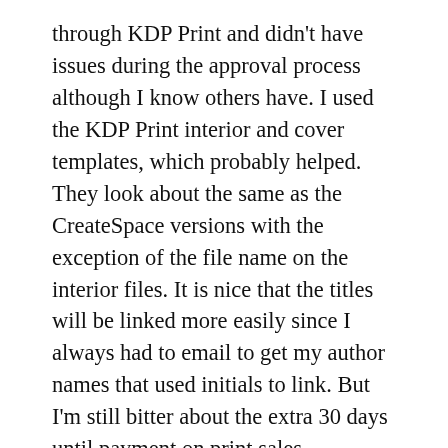through KDP Print and didn't have issues during the approval process although I know others have. I used the KDP Print interior and cover templates, which probably helped. They look about the same as the CreateSpace versions with the exception of the file name on the interior files. It is nice that the titles will be linked more easily since I always had to email to get my author names that used initials to link. But I'm still bitter about the extra 30 days until payment on print sales.
Once the changes to AMS settle down you can expect a new book there as well. But I'm not pulling the old one because it's still at least 90% accurate at this point. Although note that